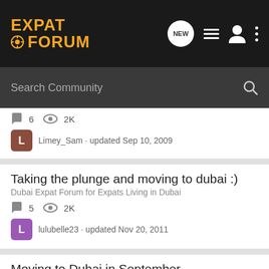EXPAT FORUM
Search Community
6  2K
Limey_Sam · updated Sep 10, 2009
Taking the plunge and moving to dubai :)
Dubai Expat Forum for Expats Living in Dubai
5  2K
lulubelle23 · updated Nov 20, 2011
Moving to Dubai in September
Dubai Expat Forum for Expats Living in Dubai
3  946
Danielle Seller · updated Jul 3, 2016